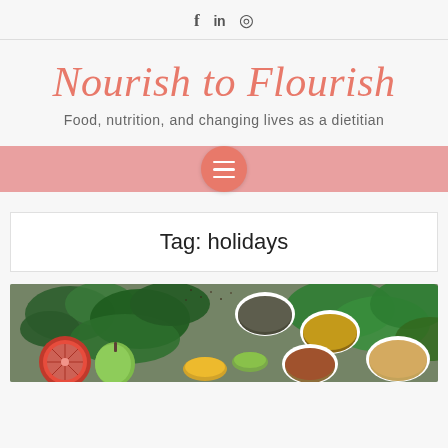f  in  ☍ (social icons: Facebook, LinkedIn, Instagram)
Nourish to Flourish
Food, nutrition, and changing lives as a dietitian
[Figure (screenshot): Pink navigation bar with hamburger menu button (three horizontal lines) inside a coral/salmon circle]
Tag: holidays
[Figure (photo): Overhead photo of various healthy foods including leafy greens, grapefruit, green apple, bowls of nuts and seeds, herbs, and spices on a dark surface]